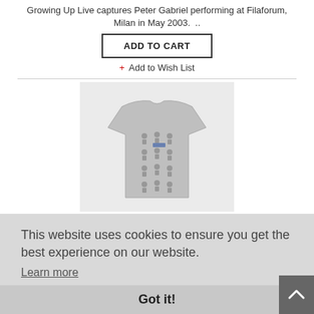Growing Up Live captures Peter Gabriel performing at Filaforum, Milan in May 2003.  ..
ADD TO CART
+ Add to Wish List
[Figure (photo): Gray t-shirt with repeated small figure/icon pattern printed on the front, displayed on a light gray background.]
This website uses cookies to ensure you get the best experience on our website.
Learn more
Got it!
ADD TO CART